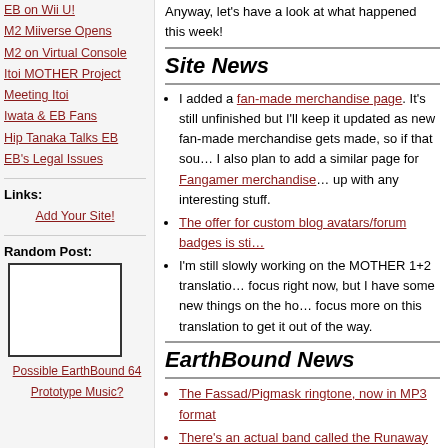EB on Wii U!
M2 Miiverse Opens
M2 on Virtual Console
Itoi MOTHER Project
Meeting Itoi
Iwata & EB Fans
Hip Tanaka Talks EB
EB's Legal Issues
Links:
Add Your Site!
Random Post:
Possible EarthBound 64 Prototype Music?
Anyway, let's have a look at what happened this week!
Site News
I added a fan-made merchandise page. It's still unfinished but I'll keep it updated as new fan-made merchandise gets made, so if that sounds good to you. I also plan to add a similar page for Fangamer merchandise once I can get caught up with any interesting stuff.
The offer for custom blog avatars/forum badges is sti…
I'm still slowly working on the MOTHER 1+2 translation. It's not my main focus right now, but I have some new things on the horizon once I can focus more on this translation to get it out of the way.
EarthBound News
The Fassad/Pigmask ringtone, now in MP3 format
There's an actual band called the Runaway Five!
Pokey and Lucas clones are in the Leprechaun movie…
MOTHER 2 Moonside vs. EarthBound Moonside com…
EarthBound quiz cameo in the latest Game Informer…
Orchestrated MOTHER Medley from the Press Start…
Some more commercial parodies
The Love Walker enemy's origin is found?